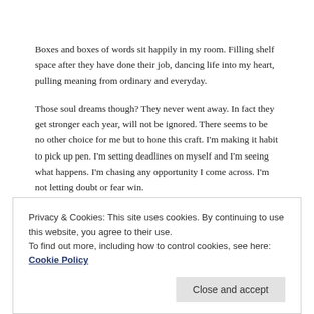Boxes and boxes of words sit happily in my room. Filling shelf space after they have done their job, dancing life into my heart, pulling meaning from ordinary and everyday.
Those soul dreams though? They never went away. In fact they get stronger each year, will not be ignored. There seems to be no other choice for me but to hone this craft. I'm making it habit to pick up pen. I'm setting deadlines on myself and I'm seeing what happens. I'm chasing any opportunity I come across. I'm not letting doubt or fear win.
Privacy & Cookies: This site uses cookies. By continuing to use this website, you agree to their use. To find out more, including how to control cookies, see here: Cookie Policy